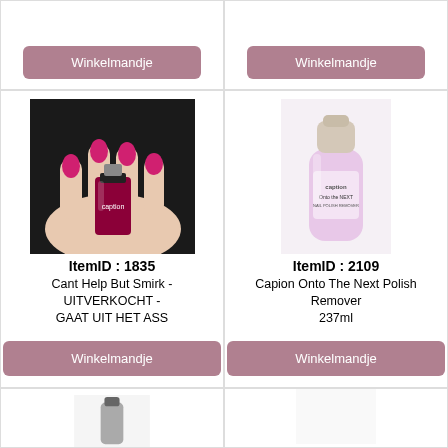[Figure (other): Top partial product cell left - button partially visible]
[Figure (other): Top partial product cell right - button partially visible]
[Figure (photo): Hand holding a pink/magenta Caption nail polish bottle with painted nails]
ItemID : 1835
Cant Help But Smirk - UITVERKOCHT - GAAT UIT HET ASS
Winkelmandje
[Figure (photo): Pink bottle of Caption Onto The Next Polish Remover 237ml with white cap]
ItemID : 2109
Capion Onto The Next Polish Remover 237ml
Winkelmandje
[Figure (photo): Bottom partial product cell left - nail polish bottle partially visible]
[Figure (other): Bottom partial product cell right - empty/white]